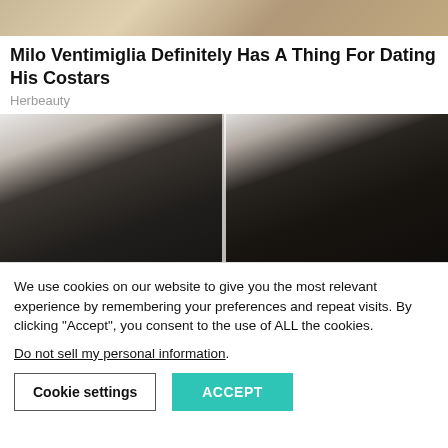[Figure (photo): Partial top portion of a photo showing a person in a store/market setting]
Milo Ventimiglia Definitely Has A Thing For Dating His Costars
Herbeauty
[Figure (photo): Split image showing a before and after of hair thinning/hair loss treatment — left side shows thinning/receding hair, right side shows fuller darker hair, on a light gray background]
We use cookies on our website to give you the most relevant experience by remembering your preferences and repeat visits. By clicking “Accept”, you consent to the use of ALL the cookies.
Do not sell my personal information.
Cookie settings
ACCEPT